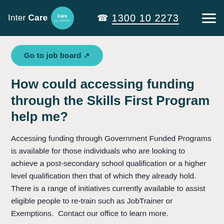Inter Care | 1300 10 2273
Go to job board ↗
How could accessing funding through the Skills First Program help me?
Accessing funding through Government Funded Programs is available for those individuals who are looking to achieve a post-secondary school qualification or a higher level qualification then that of which they already hold.  There is a range of initiatives currently available to assist eligible people to re-train such as JobTrainer or Exemptions.  Contact our office to learn more.